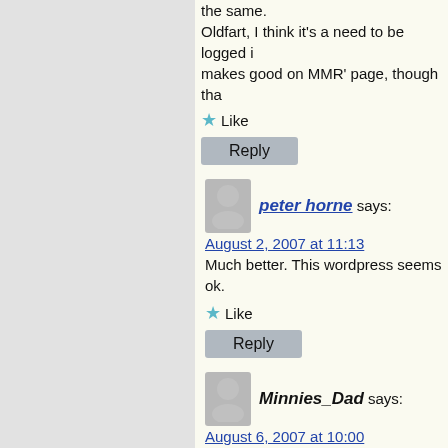the same. Oldfart, I think it's a need to be logged in makes good on MMR' page, though tha
Like
Reply
peter horne says:
August 2, 2007 at 11:13
Much better. This wordpress seems ok.
Like
Reply
Minnies_Dad says:
August 6, 2007 at 10:00
Hello Davidâ€¦and congratulations on y At least something positive has come o though that may have once seemed!
Like
Reply
kazelnio says: